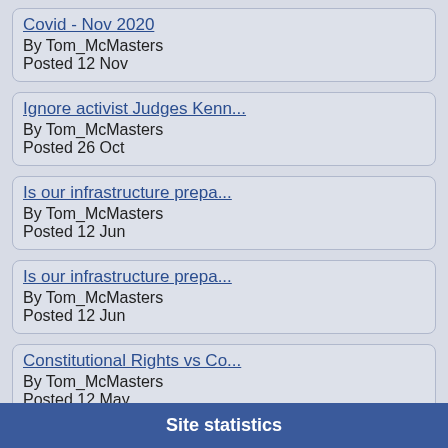Covid - Nov 2020
By Tom_McMasters
Posted 12 Nov
Ignore activist Judges Kenn...
By Tom_McMasters
Posted 26 Oct
Is our infrastructure prepa...
By Tom_McMasters
Posted 12 Jun
Is our infrastructure prepa...
By Tom_McMasters
Posted 12 Jun
Constitutional Rights vs Co...
By Tom_McMasters
Posted 12 May
View all
Site statistics